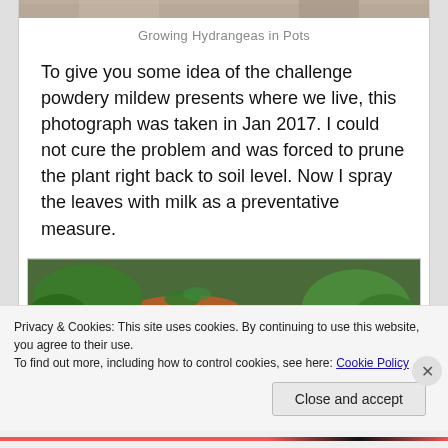[Figure (photo): Partial view of a garden/patio scene, cropped at top]
Growing Hydrangeas in Pots
To give you some idea of the challenge powdery mildew presents where we live, this photograph was taken in Jan 2017. I could not cure the problem and was forced to prune the plant right back to soil level. Now I spray the leaves with milk as a preventative measure.
[Figure (photo): Garden scene with a terracotta pot, green plants and succulents on the ground]
Privacy & Cookies: This site uses cookies. By continuing to use this website, you agree to their use.
To find out more, including how to control cookies, see here: Cookie Policy
Close and accept